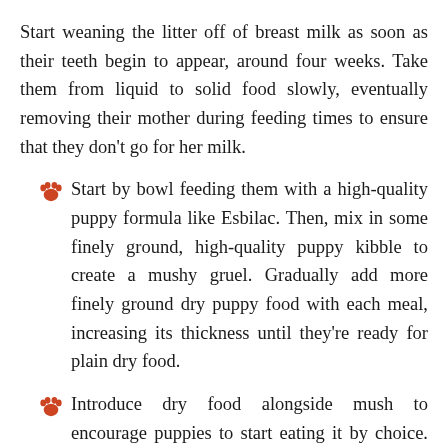Start weaning the litter off of breast milk as soon as their teeth begin to appear, around four weeks. Take them from liquid to solid food slowly, eventually removing their mother during feeding times to ensure that they don't go for her milk.
Start by bowl feeding them with a high-quality puppy formula like Esbilac. Then, mix in some finely ground, high-quality puppy kibble to create a mushy gruel. Gradually add more finely ground dry puppy food with each meal, increasing its thickness until they're ready for plain dry food.
Introduce dry food alongside mush to encourage puppies to start eating it by choice. They should be able to eat kibble by the time